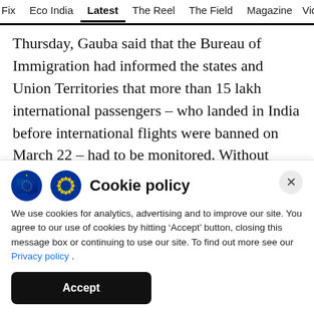Fix  Eco India  Latest  The Reel  The Field  Magazine  Vid
Thursday, Gauba said that the Bureau of Immigration had informed the states and Union Territories that more than 15 lakh international passengers – who landed in India before international flights were banned on March 22 – had to be monitored. Without saying how many passengers were actually being monitored, Gauba said that there had been a gap
Cookie policy
We use cookies for analytics, advertising and to improve our site. You agree to our use of cookies by hitting ‘Accept’ button, closing this message box or continuing to use our site. To find out more see our Privacy policy .
Accept